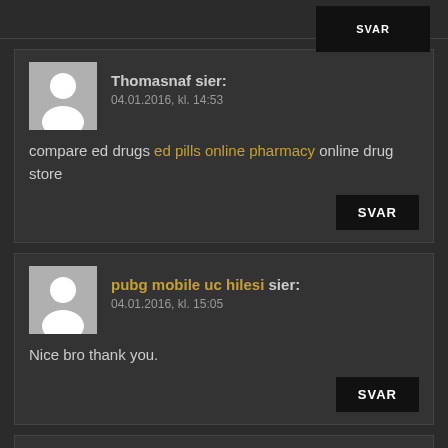SVAR (top stub button)
Thomasnaf sier:
04.01.2016, kl. 14:53
compare ed drugs ed pills online pharmacy online drug store
SVAR
pubg mobile uc hilesi sier:
04.01.2016, kl. 15:05
Nice bro thank you.
SVAR
Benjamin sier: